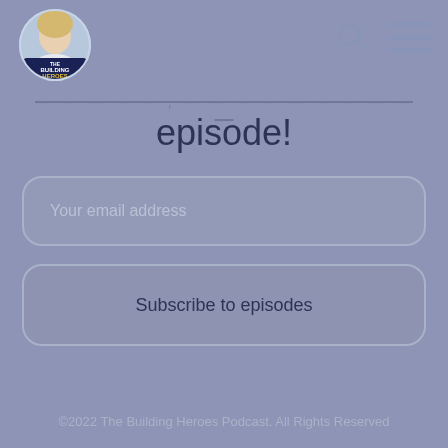[Figure (logo): The Building Heroes Podcast circular logo with a woman's photo and text]
[Figure (other): Search icon (magnifying glass) in header]
[Figure (other): Hamburger menu icon (three horizontal lines) in header]
— — — — — — , — — — — — — — — — — — —
episode!
Your email address
Subscribe to episodes
©2022 The Building Heroes Podcast. All Rights Reserved